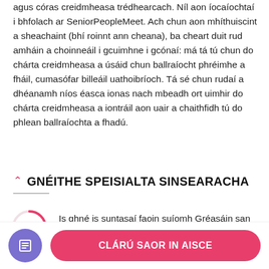agus córas creidmheasa trédhearcach. Níl aon íocaíochtaí i bhfolach ar SeniorPeopleMeet. Ach chun aon mhíthuiscint a sheachaint (bhí roinnt ann cheana), ba cheart duit rud amháin a choinneáil i gcuimhne i gcónaí: má tá tú chun do chárta creidmheasa a úsáid chun ballraíocht phréimhe a fháil, cumasófar billeáil uathoibríoch. Tá sé chun rudaí a dhéanamh níos éasca ionas nach mbeadh ort uimhir do chárta creidmheasa a iontráil aon uair a chaithfidh tú do phlean ballraíochta a fhadú.
GNÉITHE SPEISIALTA SINSEARACHA
[Figure (infographic): A circular progress indicator showing 76% in pink/red color on a white background with pink border arc.]
Is ghné is suntasaí faoin suíomh Gréasáin san alt seo ná gur rud nideoige go leor é atá deartha go...
[Figure (infographic): Bottom navigation bar with a purple circular icon with a document/list symbol on the left, and a pink rounded rectangle button labeled CLÁRÚ SAOR IN AISCE on the right.]